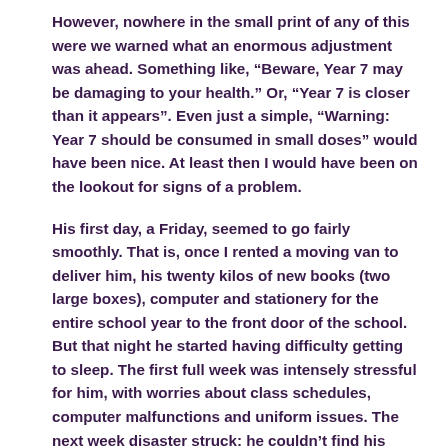However, nowhere in the small print of any of this were we warned what an enormous adjustment was ahead. Something like, “Beware, Year 7 may be damaging to your health.” Or, “Year 7 is closer than it appears”. Even just a simple, “Warning: Year 7 should be consumed in small doses” would have been nice. At least then I would have been on the lookout for signs of a problem.
His first day, a Friday, seemed to go fairly smoothly. That is, once I rented a moving van to deliver him, his twenty kilos of new books (two large boxes), computer and stationery for the entire school year to the front door of the school. But that night he started having difficulty getting to sleep. The first full week was intensely stressful for him, with worries about class schedules, computer malfunctions and uniform issues. The next week disaster struck: he couldn’t find his sports shorts and ended up wearing, of all things, his mum’s black shorts instead.